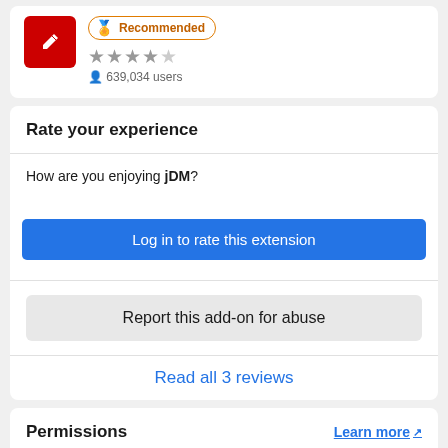[Figure (screenshot): App icon: red square with white pen/edit icon]
Recommended
3.5 stars, 639,034 users
Rate your experience
How are you enjoying jDM?
Log in to rate this extension
Report this add-on for abuse
Read all 3 reviews
Permissions
Learn more
This add-on needs to: